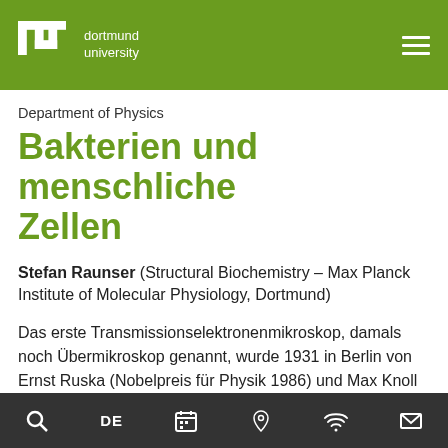TU Dortmund University — navigation header with logo and hamburger menu
Department of Physics
Bakterien und menschliche Zellen
Stefan Raunser (Structural Biochemistry – Max Planck Institute of Molecular Physiology, Dortmund)
Das erste Transmissionselektronenmikroskop, damals noch Übermikroskop genannt, wurde 1931 in Berlin von Ernst Ruska (Nobelpreis für Physik 1986) und Max Knoll gebaut. In einem solchen Mikroskop durchstrahlen Elektronen das Objekt und wechselwirken mit diesem, wodurch ein Bild entsteht. Aufgrund der kurzen
Search | DE | Calendar | Location | Accessibility | Mail